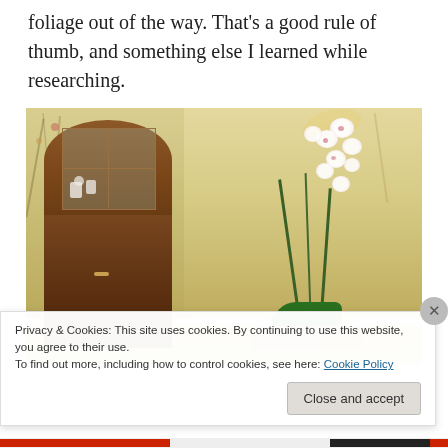foliage out of the way. That's a good rule of thumb, and something else I learned while researching.
[Figure (photo): Interior room photo showing a wooden corner cabinet with glass display case containing white china, and a potted white orchid plant in the foreground. The walls have a floral mural painted on them. The floor appears to be light-colored.]
Privacy & Cookies: This site uses cookies. By continuing to use this website, you agree to their use.
To find out more, including how to control cookies, see here: Cookie Policy
Close and accept